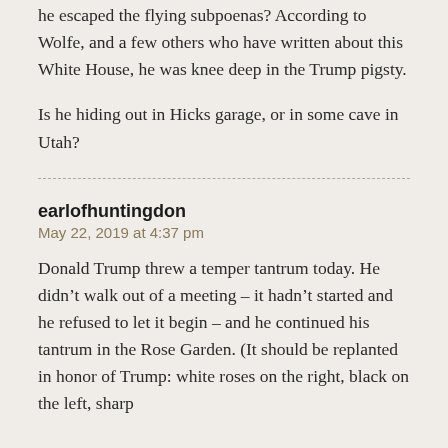he escaped the flying subpoenas? According to Wolfe, and a few others who have written about this White House, he was knee deep in the Trump pigsty.
Is he hiding out in Hicks garage, or in some cave in Utah?
earlofhuntingdon
May 22, 2019 at 4:37 pm
Donald Trump threw a temper tantrum today. He didn’t walk out of a meeting – it hadn’t started and he refused to let it begin – and he continued his tantrum in the Rose Garden. (It should be replanted in honor of Trump: white roses on the right, black on the left, sharp